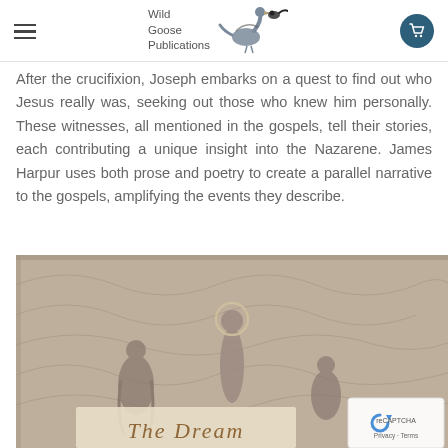Wild Goose Publications
After the crucifixion, Joseph embarks on a quest to find out who Jesus really was, seeking out those who knew him personally. These witnesses, all mentioned in the gospels, tell their stories, each contributing a unique insight into the Nazarene. James Harpur uses both prose and poetry to create a parallel narrative to the gospels, amplifying the events they describe.
[Figure (photo): Book cover image showing a muted, decorative painted or mosaic-style scene with robed figures, one with a halo. At the bottom is visible text beginning 'The Dream' in stylized golden lettering.]